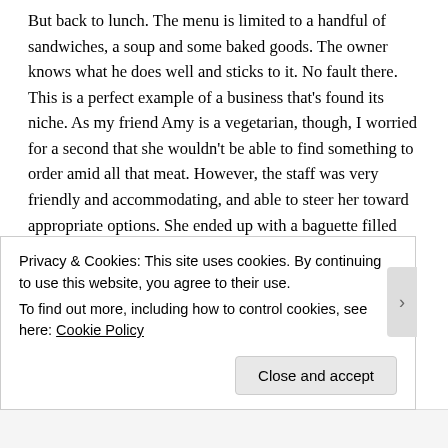But back to lunch. The menu is limited to a handful of sandwiches, a soup and some baked goods. The owner knows what he does well and sticks to it. No fault there. This is a perfect example of a business that's found its niche. As my friend Amy is a vegetarian, though, I worried for a second that she wouldn't be able to find something to order amid all that meat. However, the staff was very friendly and accommodating, and able to steer her toward appropriate options. She ended up with a baguette filled with smoked salmon, but said it could have used a little something to kick up the flavor just a bit – dill or capers perhaps? She vowed to go for the salmon pastrami next time.
Privacy & Cookies: This site uses cookies. By continuing to use this website, you agree to their use. To find out more, including how to control cookies, see here: Cookie Policy